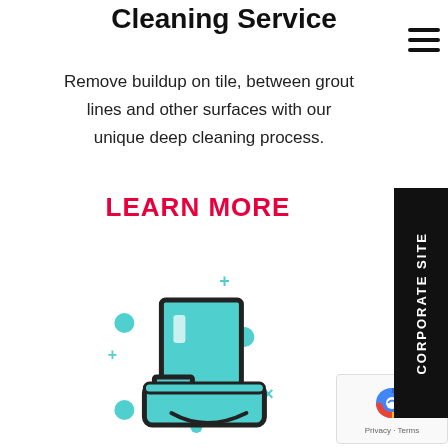Cleaning Service
Remove buildup on tile, between grout lines and other surfaces with our unique deep cleaning process.
LEARN MORE
[Figure (illustration): Icon of a toilet with teal/cyan color and sparkle/cleaning symbols around it (plus signs, circles, x marks in teal)]
[Figure (other): reCAPTCHA widget with Privacy and Terms links]